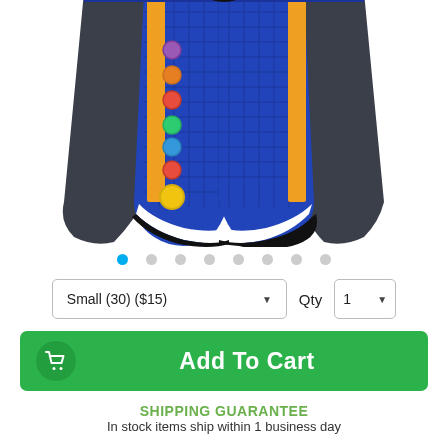[Figure (photo): Blue board shorts with colorful circular gems/dots along left side, gold vertical stripe, black side panel, white and black trim at bottom hem.]
Image carousel dots: 8 dots, first one selected (cyan/blue), rest gray
Small (30) ($15) — size/price dropdown selector. Qty 1 — quantity selector.
Add To Cart
SHIPPING GUARANTEE
In stock items ship within 1 business day